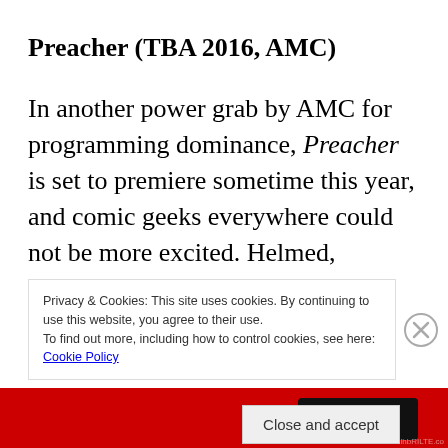Preacher (TBA 2016, AMC)
In another power grab by AMC for programming dominance, Preacher is set to premiere sometime this year, and comic geeks everywhere could not be more excited. Helmed, surprisingly, by Seth Rogen and Evan Goldberg, the graphic
Privacy & Cookies: This site uses cookies. By continuing to use this website, you agree to their use.
To find out more, including how to control cookies, see here: Cookie Policy
Close and accept